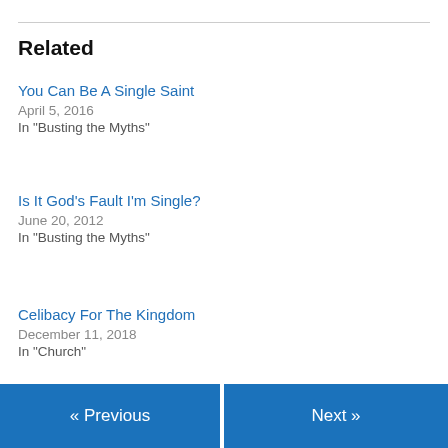Related
You Can Be A Single Saint
April 5, 2016
In "Busting the Myths"
Is It God’s Fault I’m Single?
June 20, 2012
In "Busting the Myths"
Celibacy For The Kingdom
December 11, 2018
In "Church"
January 22, 2013
4 Replies
« Previous   Next »